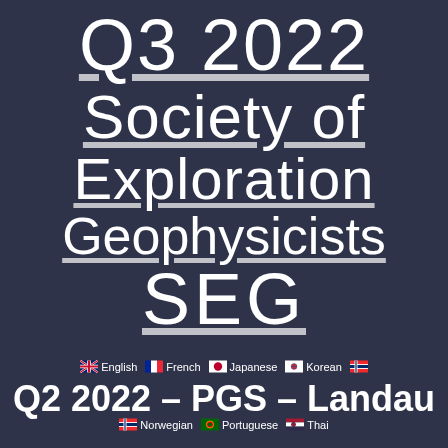Q3 2022 Society of Exploration Geophysicists SEG
English  French  Japanese  Korean
Q2 2022 – PGS – Landau
Norwegian  Portuguese  Thai